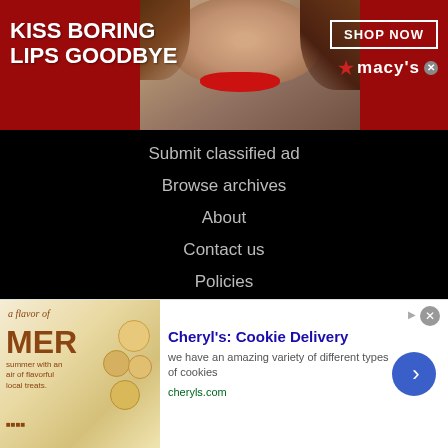[Figure (photo): Macy's advertisement banner: red background with bold white text 'KISS BORING LIPS GOODBYE', a woman's face with red lips in center, 'SHOP NOW' button and Macy's logo on right]
Submit classified ad
Browse archives
About
Contact us
Policies
Terms of use
Follow us
[Figure (illustration): Social media icons: Facebook, Twitter, YouTube, Instagram — grey circular icons on black background]
[Figure (photo): Cheryl's Cookie Delivery advertisement: cookie image on left, title 'Cheryl's: Cookie Delivery', description text, cheryls.com URL, blue arrow button on right]